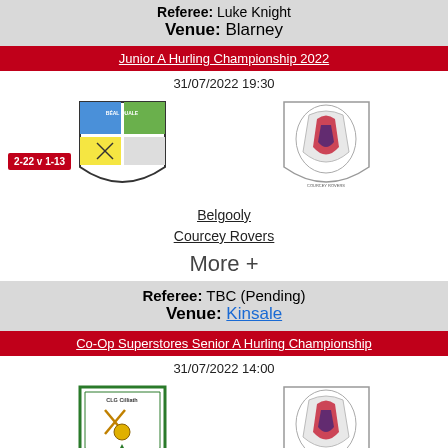Referee: Luke Knight
Venue: Blarney
Junior A Hurling Championship 2022
31/07/2022 19:30
[Figure (illustration): Belgooly GAA club crest shield]
[Figure (illustration): Courcey Rovers GAA club crest]
2-22 v 1-13
Belgooly
Courcey Rovers
More +
Referee: TBC (Pending)
Venue: Kinsale
Co-Op Superstores Senior A Hurling Championship
31/07/2022 14:00
[Figure (illustration): Killeagh GAA club crest shield (CLG Cilliath)]
[Figure (illustration): Courcey Rovers GAA club crest (second instance)]
Killeagh